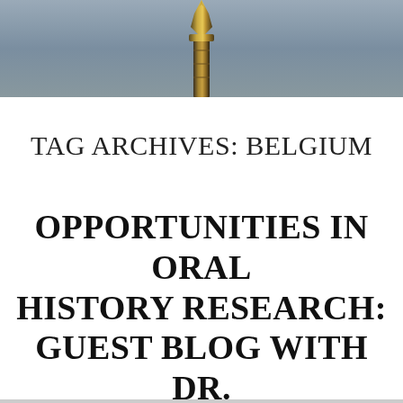[Figure (photo): Partial view of a trophy or award ornament with gold/bronze metallic top against a grey-blue background]
TAG ARCHIVES: BELGIUM
OPPORTUNITIES IN ORAL HISTORY RESEARCH: GUEST BLOG WITH DR. JANE JUDGE